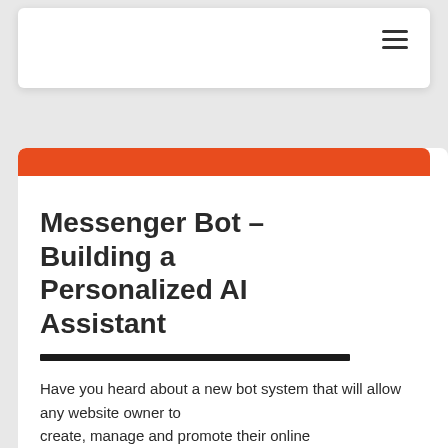≡
Messenger Bot – Building a Personalized AI Assistant
Have you heard about a new bot system that will allow any website owner to create, manage and promote their online